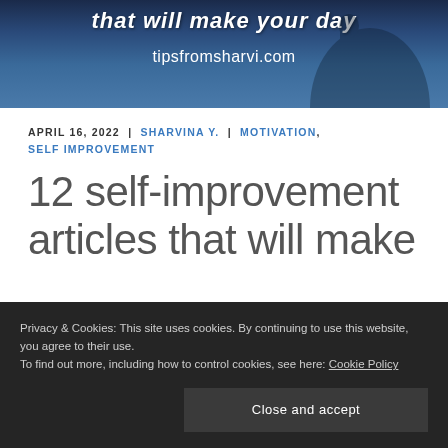[Figure (photo): Dark blue mountain landscape banner with silhouette of person, italic text 'that will make your day' and URL 'tipsfromsharvi.com']
APRIL 16, 2022 | SHARVINA Y. | MOTIVATION, SELF IMPROVEMENT
12 self-improvement articles that will make
Privacy & Cookies: This site uses cookies. By continuing to use this website, you agree to their use.
To find out more, including how to control cookies, see here: Cookie Policy
Close and accept